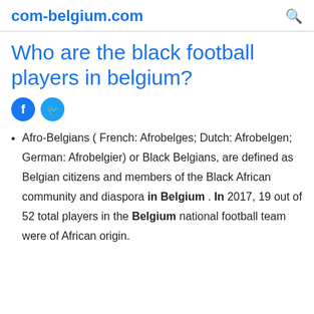com-belgium.com
Who are the black football players in belgium?
[Figure (other): Social media sharing icons: Facebook (blue circle with f) and Twitter (blue circle with bird)]
Afro-Belgians ( French: Afrobelges; Dutch: Afrobelgen; German: Afrobelgier) or Black Belgians, are defined as Belgian citizens and members of the Black African community and diaspora in Belgium . In 2017, 19 out of 52 total players in the Belgium national football team were of African origin.